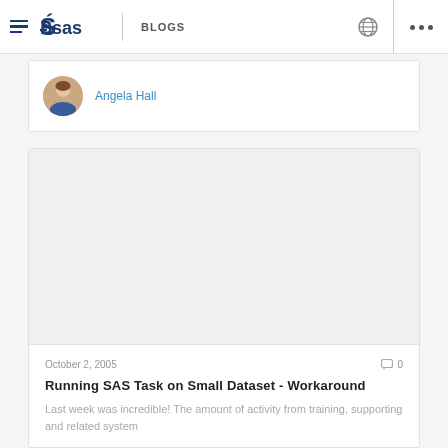SAS BLOGS
Angela Hall
[Figure (photo): Blog post thumbnail image, light gray placeholder]
October 2, 2005
0 comments
Running SAS Task on Small Dataset - Workaround
Last week was incredible! The amount of activity from training, supporting and related system